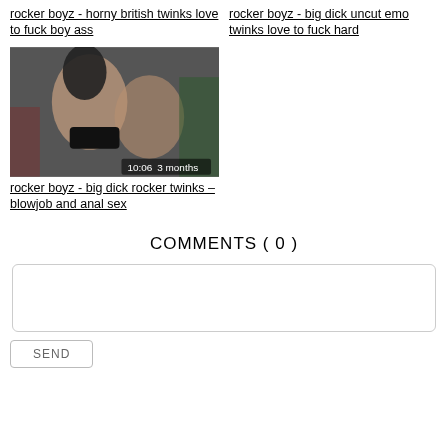rocker boyz - horny british twinks love to fuck boy ass
rocker boyz - big dick uncut emo twinks love to fuck hard
[Figure (photo): Thumbnail image of two young men, shirtless, reclining together. Overlay text shows '10:06' and '3 months'.]
rocker boyz - big dick rocker twinks – blowjob and anal sex
COMMENTS ( 0 )